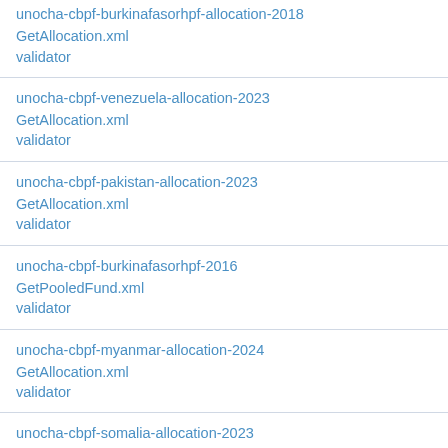unocha-cbpf-burkinafasorhpf-allocation-2018
GetAllocation.xml
validator
unocha-cbpf-venezuela-allocation-2023
GetAllocation.xml
validator
unocha-cbpf-pakistan-allocation-2023
GetAllocation.xml
validator
unocha-cbpf-burkinafasorhpf-2016
GetPooledFund.xml
validator
unocha-cbpf-myanmar-allocation-2024
GetAllocation.xml
validator
unocha-cbpf-somalia-allocation-2023
GetAllocation.xml
validator